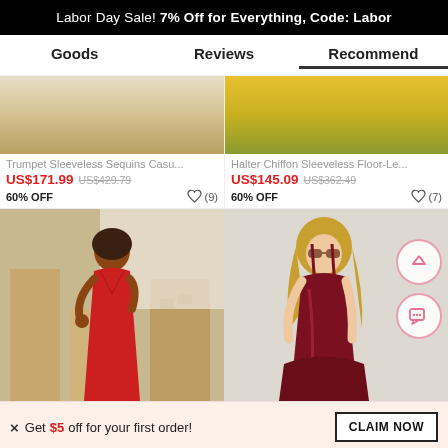Labor Day Sale! 7% Off for Everything, Code: Labor
Goods | Reviews | Recommend
Trumpet Sleeveless Sequins Casu...
US$171.99  US$429.79  60% OFF  (9)
Halter Chiffon Sleeveless Floor-Le...
US$145.09  US$362.49  60% OFF  (7)
[Figure (photo): Woman in red dress on balcony]
[Figure (photo): Woman in dark red satin dress against wall]
× Get $5 off for your first order! CLAIM NOW
♡ 9   ADD TO BAG